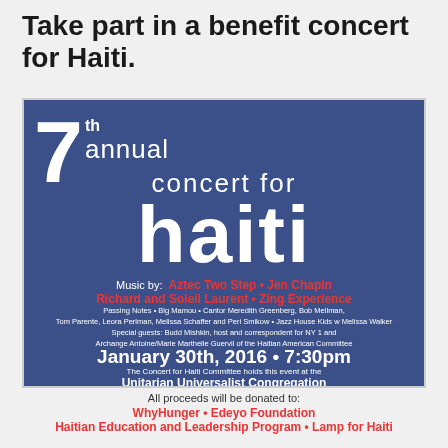Take part in a benefit concert for Haiti.
[Figure (infographic): 7th Annual Concert for Haiti poster with blue background. Music by: Aztec Two Step, Jen Chapin, Richard and Soleil Laurent, Zing Experience. Also: Passing Notes, Big Mamou, Cantor Meredith Greenberg, Bob Mellman, Tom Parente, Leora Perlman, Melissa Schaffer and Peri Smikow, Jazz House Kids w Melissa Walker. Special guests: Budd Mishkin host and correspondent for NY 1 and Archange Antoine/Marie Marthelle Guervil of the Haitian American Committee. January 30th, 2016 • 7:30pm. The Concert for Haiti Committee holds this event at the Unitarian Universalist Congregation, 67 Church St, Montclair NJ.]
All proceeds will be donated to:
WhyHunger • Edeyo Foundation
Haitian Education and Leadership Program • Lamp for Haiti